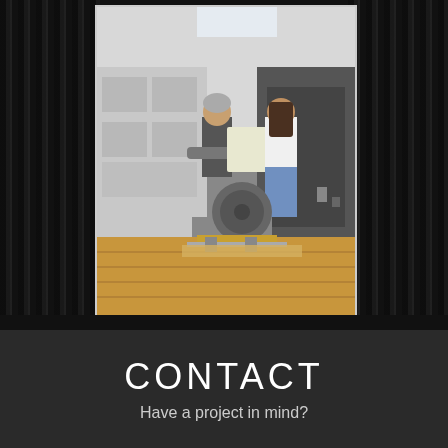[Figure (photo): Two people (contractors or builders) standing in an under-construction room examining blueprints/plans, with a miter saw on the wooden floor between them. The room has unfinished drywall walls and a wooden plank floor.]
CONTACT
Have a project in mind?